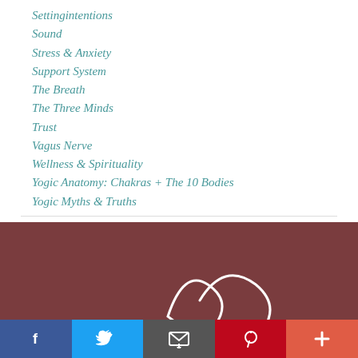Settingintentions
Sound
Stress & Anxiety
Support System
The Breath
The Three Minds
Trust
Vagus Nerve
Wellness & Spirituality
Yogic Anatomy: Chakras + The 10 Bodies
Yogic Myths & Truths
[Figure (illustration): Dark reddish-brown footer background with a white cursive logo/signature mark partially visible]
Social sharing bar with Facebook, Twitter, Email, Pinterest, and More buttons